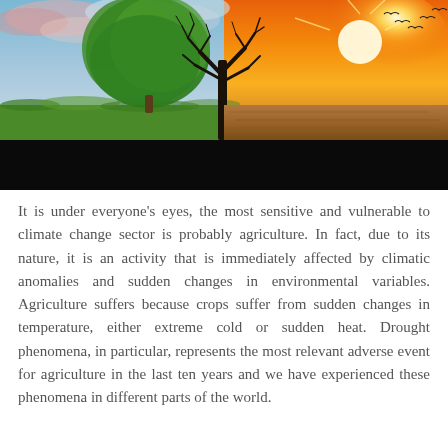[Figure (photo): Split image showing climate contrast: left half depicts a lush green tree under blue cloudy sky with green grass, right half shows a bare dead tree under an intense orange sun in a dry desert landscape with cracked brown earth. Birds flying in the upper right. Bottom portion is a black bar.]
It is under everyone's eyes, the most sensitive and vulnerable to climate change sector is probably agriculture. In fact, due to its nature, it is an activity that is immediately affected by climatic anomalies and sudden changes in environmental variables. Agriculture suffers because crops suffer from sudden changes in temperature, either extreme cold or sudden heat. Drought phenomena, in particular, represents the most relevant adverse event for agriculture in the last ten years and we have experienced these phenomena in different parts of the world.